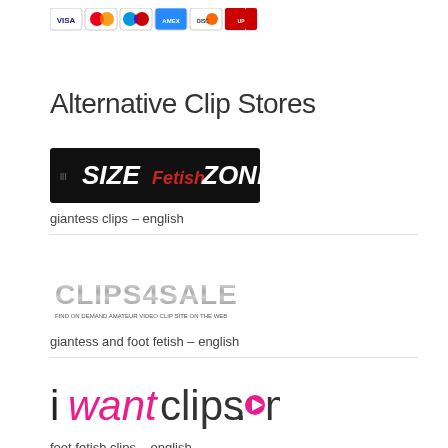[Figure (logo): Payment method icons: VISA, Mastercard, Maestro, American Express, Discover, UnionPay]
Alternative Clip Stores
[Figure (logo): SIZE Fetish ZONE logo - black background with stylized white text, red italic 'Fetish']
giantess clips – english
[Figure (logo): CLIPS4SALE logo - metallic chrome styled text with tagline below]
giantess and foot fetish – english
[Figure (logo): iwantclips.com logo - black and pink text with play button icon]
foot fetish clips – english